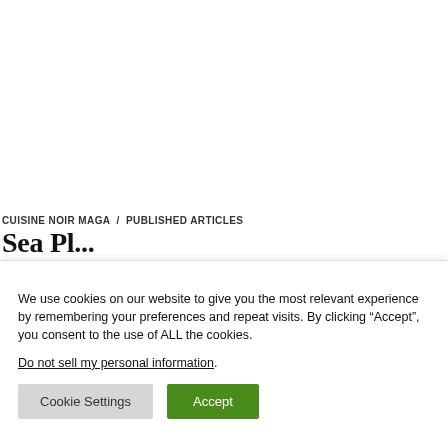CUISINE NOIR MAGA / PUBLISHED ARTICLES
Sea P... (partially visible title)
We use cookies on our website to give you the most relevant experience by remembering your preferences and repeat visits. By clicking “Accept”, you consent to the use of ALL the cookies.
Do not sell my personal information.